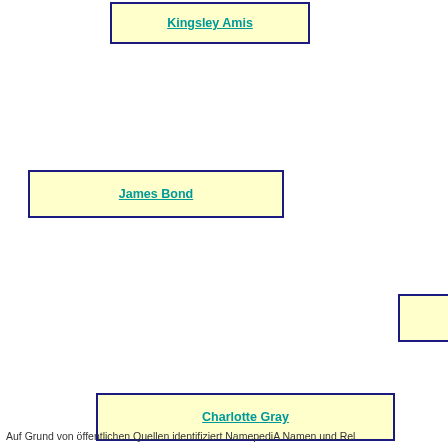[Figure (organizational-chart): Network/relationship graph showing named nodes (Kingsley Amis, Ian Fle[ming], Daniel Craig, James Bond, Sean Con[nery], May Care, Charlotte Gray, Lucy Fle[ming], John Gardner, Sun Chariot Stakes, London) connected in a layout. Yellow nodes with navy borders are person/entity names (hyperlinked); light blue nodes are place/event names.]
Auf Grund von öffentlichen Quellen identifiziert NamepediA Namen und Rel